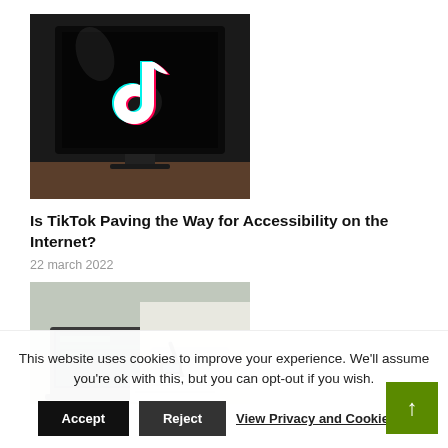[Figure (photo): A monitor/TV screen displaying the TikTok logo on a dark background, placed on a wooden surface]
Is TikTok Paving the Way for Accessibility on the Internet?
22 march 2022
[Figure (photo): A person in a white long-sleeve shirt working on a laptop, writing notes with a pen]
This website uses cookies to improve your experience. We'll assume you're ok with this, but you can opt-out if you wish.
Accept
Reject
View Privacy and Cookie P...